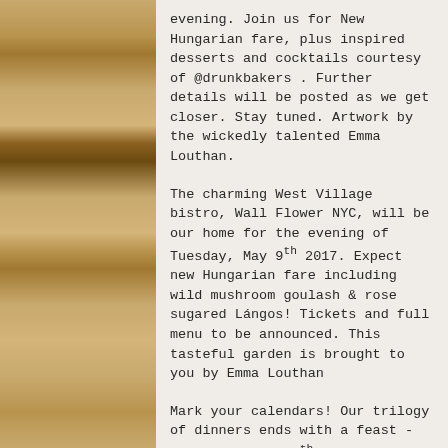evening. Join us for New Hungarian fare, plus inspired desserts and cocktails courtesy of @drunkbakers . Further details will be posted as we get closer. Stay tuned. Artwork by the wickedly talented Emma Louthan.
The charming West Village bistro, Wall Flower NYC, will be our home for the evening of Tuesday, May 9th 2017. Expect new Hungarian fare including wild mushroom goulash & rose sugared Lángos! Tickets and full menu to be announced. This tasteful garden is brought to you by Emma Louthan
Mark your calendars! Our trilogy of dinners ends with a feast - Saturday, May 20th 2017: We'll be offering up a ticketed prix fixe menu in this intimate and rustic East Williamsburg spot @fitzbk . Athena Bochanis of @palinkerie wines will also be joining us for a